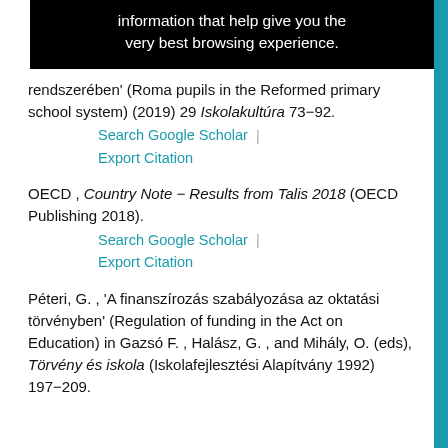[Figure (screenshot): Black banner with white text: 'information that help give you the very best browsing experience.']
rendszerében' (Roma pupils in the Reformed primary school system) (2019) 29 Iskolakultúra 73–92.
Search Google Scholar | Export Citation
OECD , Country Note – Results from Talis 2018 (OECD Publishing 2018).
Search Google Scholar | Export Citation
Péteri, G. , 'A finanszírozás szabályozása az oktatási törvényben' (Regulation of funding in the Act on Education) in Gazsó F. , Halász, G. , and Mihály, O. (eds), Törvény és iskola (Iskolafejlesztési Alapítvány 1992) 197–209.